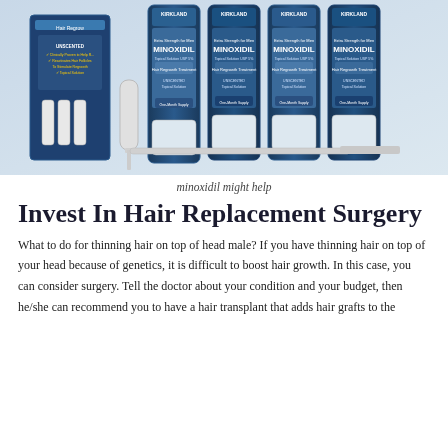[Figure (photo): Photo of Kirkland brand Minoxidil hair regrowth treatment bottles and dropper applicators arranged together, showing multiple bottles with blue and white labels.]
minoxidil might help
Invest In Hair Replacement Surgery
What to do for thinning hair on top of head male? If you have thinning hair on top of your head because of genetics, it is difficult to boost hair growth. In this case, you can consider surgery. Tell the doctor about your condition and your budget, then he/she can recommend you to have a hair transplant that adds hair grafts to the